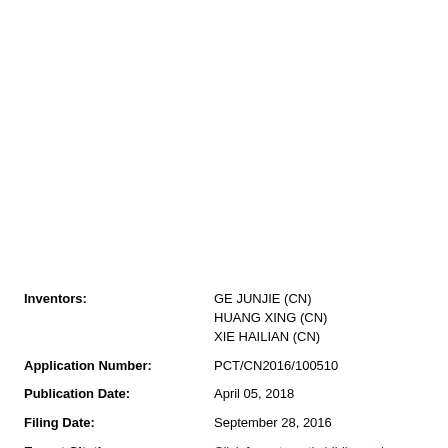Inventors: GE JUNJIE (CN) HUANG XING (CN) XIE HAILIAN (CN)
Application Number: PCT/CN2016/100510
Publication Date: April 05, 2018
Filing Date: September 28, 2016
Export Citation: